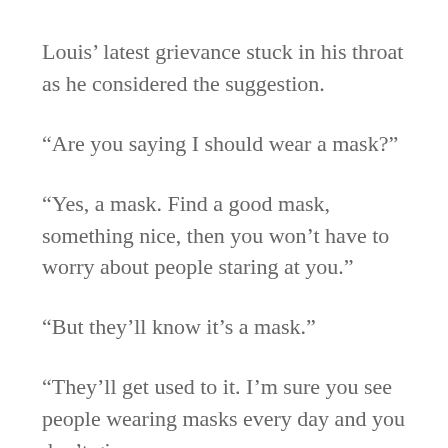Louis’ latest grievance stuck in his throat as he considered the suggestion.
“Are you saying I should wear a mask?”
“Yes, a mask. Find a good mask, something nice, then you won’t have to worry about people staring at you.”
“But they’ll know it’s a mask.”
“They’ll get used to it. I’m sure you see people wearing masks every day and you don’t give